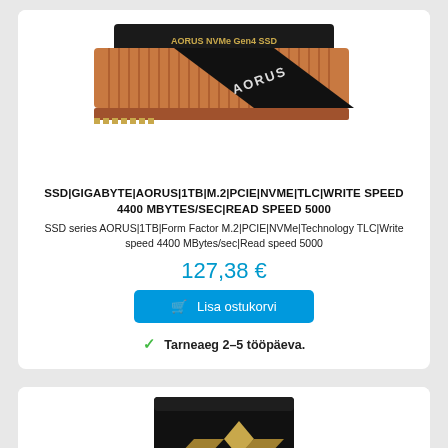[Figure (photo): AORUS NVMe Gen4 SSD with copper heatsink M.2 drive]
SSD|GIGABYTE|AORUS|1TB|M.2|PCIE|NVME|TLC|WRITE SPEED 4400 MBYTES/SEC|READ SPEED 5000
SSD series AORUS|1TB|Form Factor M.2|PCIE|NVMe|Technology TLC|Write speed 4400 MBytes/sec|Read speed 5000
127,38 €
Lisa ostukorvi
Tarneaeg 2–5 tööpäeva.
[Figure (photo): AORUS branded black product box with gold logo, partially visible]